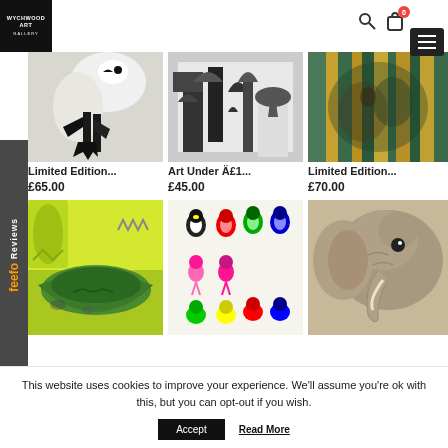[Figure (logo): Wychwood Art Gallery logo - white text on black square background]
[Figure (photo): Bird with black and white plumage, close-up of feet/legs]
Limited Edition...
£65.00
[Figure (photo): Black and white linocut/woodblock print of trees and sailboat]
Art Under £1...
£45.00
[Figure (photo): Colorful painting of zebras with blue, green, and gold stripes]
Limited Edition...
£70.00
[Figure (photo): Colorful print of crocodile on yellow/green background]
[Figure (photo): Colorful artwork of various bird pairs - penguins, flamingos, frogs]
[Figure (photo): Close-up photograph of an elephant's face]
This website uses cookies to improve your experience. We'll assume you're ok with this, but you can opt-out if you wish.
Accept
Read More